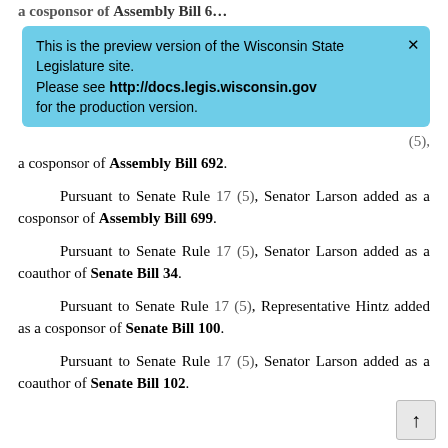a cosponsor of Assembly Bill 692.
This is the preview version of the Wisconsin State Legislature site. Please see http://docs.legis.wisconsin.gov for the production version.
Pursuant to Senate Rule 17 (5), Senator Larson added as a cosponsor of Assembly Bill 699.
Pursuant to Senate Rule 17 (5), Senator Larson added as a coauthor of Senate Bill 34.
Pursuant to Senate Rule 17 (5), Representative Hintz added as a cosponsor of Senate Bill 100.
Pursuant to Senate Rule 17 (5), Senator Larson added as a coauthor of Senate Bill 102.